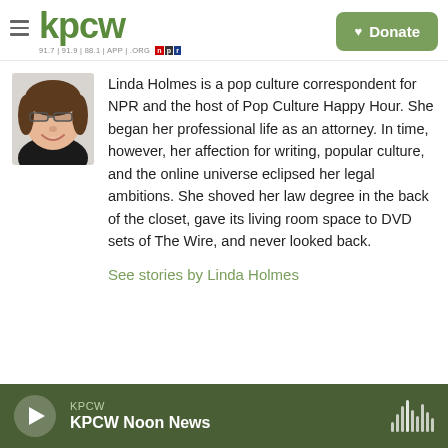KPCW — 91.7 | 91.9 | 88.1 | APP | .ORG
[Figure (logo): KPCW radio station logo in green text with frequency subline and NPR/NDT badge]
[Figure (photo): Headshot of Linda Holmes, a woman with glasses wearing a black top, smiling]
Linda Holmes is a pop culture correspondent for NPR and the host of Pop Culture Happy Hour. She began her professional life as an attorney. In time, however, her affection for writing, popular culture, and the online universe eclipsed her legal ambitions. She shoved her law degree in the back of the closet, gave its living room space to DVD sets of The Wire, and never looked back.
See stories by Linda Holmes
KPCW — KPCW Noon News